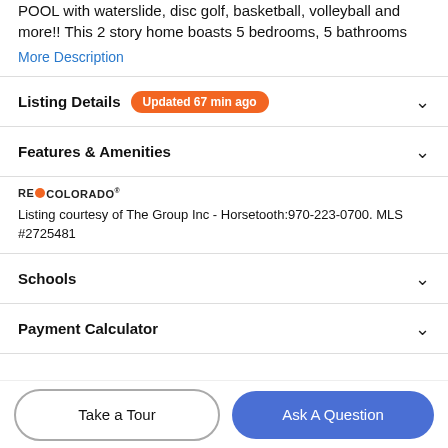POOL with waterslide, disc golf, basketball, volleyball and more!! This 2 story home boasts 5 bedrooms, 5 bathrooms
More Description
Listing Details  Updated 67 min ago
Features & Amenities
[Figure (logo): RE/Colorado real estate logo with orange dot]
Listing courtesy of The Group Inc - Horsetooth:970-223-0700. MLS #2725481
Schools
Payment Calculator
Take a Tour
Ask A Question